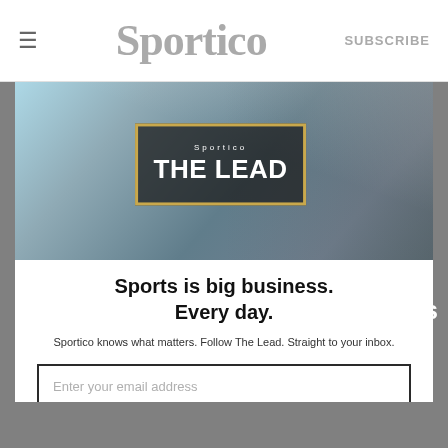≡  Sportico  SUBSCRIBE
[Figure (screenshot): Website screenshot showing Sportico newsletter subscription modal overlay. Background shows a grey page with 'The Lead' newsletter image. Modal contains 'THE LEAD' branded image with gold border, headline 'Sports is big business. Every day.', subtext about following The Lead newsletter, email input field, Subscribe button, and 'No, thank you.' link.]
Sports is big business. Every day.
Sportico knows what matters. Follow The Lead. Straight to your inbox.
Enter your email address
SUBSCRIBE
No, thank you.